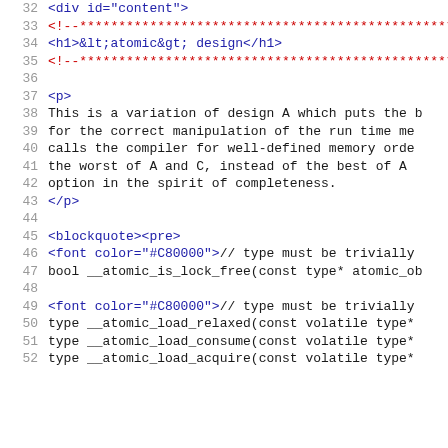32  <div id="content">
33    <!--*****...
34    <h1>&lt;atomic&gt; design</h1>
35    <!--*****...
36
37    <p>
38    This is a variation of design A which puts the b...
39    for the correct manipulation of the run time me...
40    calls the compiler for well-defined memory orde...
41    the worst of A and C, instead of the best of A ...
42    option in the spirit of completeness.
43    </p>
44
45    <blockquote><pre>
46    <font color="#C80000">// type must be trivially...
47    bool __atomic_is_lock_free(const type* atomic_ob...
48
49    <font color="#C80000">// type must be trivially...
50    type __atomic_load_relaxed(const volatile type*...
51    type __atomic_load_consume(const volatile type*...
52    type __atomic_load_acquire(const volatile type*...